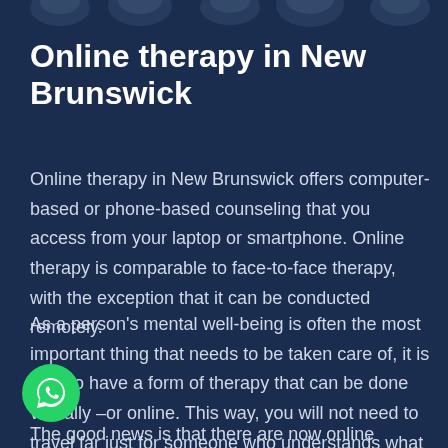[Figure (illustration): Dark navy wave/banner at the top of the page with decorative wave shapes]
Online therapy in New Brunswick
Online therapy in New Brunswick offers computer-based or phone-based counseling that you access from your laptop or smartphone. Online therapy is comparable to face-to-face therapy, with the exception that it can be conducted remotely.
As a person's mental well-being is often the most important thing that needs to be taken care of, it is best to have a form of therapy that can be done virtually –or online. This way, you will not need to travel far just for someone who understands what you are going through offers from the same illness you do.
The good news is that there are now online therapists in
[Figure (logo): WhatsApp icon button (green circle with white phone handset)]